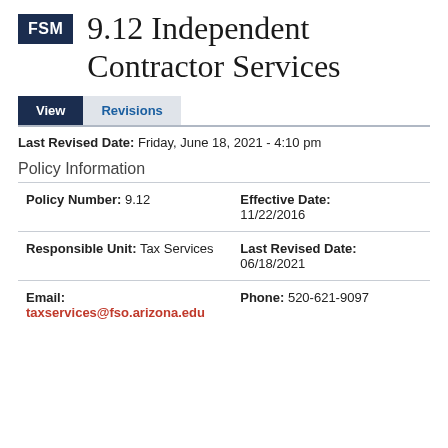9.12 Independent Contractor Services
Last Revised Date: Friday, June 18, 2021 - 4:10 pm
Policy Information
| Field | Value |
| --- | --- |
| Policy Number: 9.12 | Effective Date: 11/22/2016 |
| Responsible Unit: Tax Services | Last Revised Date: 06/18/2021 |
| Email: taxservices@fso.arizona.edu | Phone: 520-621-9097 |